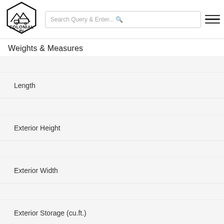Colonial RV
Weights & Measures
Length
Exterior Height
Exterior Width
Exterior Storage (cu.ft.)